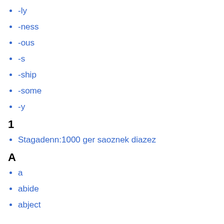-ly
-ness
-ous
-s
-ship
-some
-y
1
Stagadenn:1000 ger saoznek diazez
A
a
abide
abject